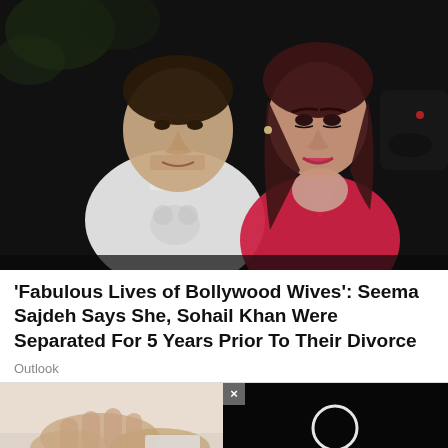[Figure (photo): A man in a white Mickey Mouse t-shirt and a woman in a red dress posing together at night against a dark background with bokeh lights]
'Fabulous Lives of Bollywood Wives': Seema Sajdeh Says She, Sohail Khan Were Separated For 5 Years Prior To Their Divorce
Outlook
[Figure (photo): Bottom partial image showing hands, with a black video player overlay containing a white ring/circle on the right side with an X close button]